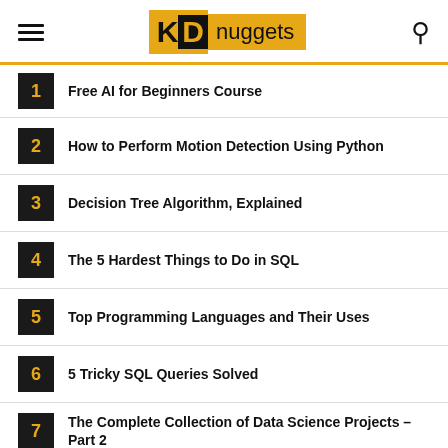KDnuggets
1 Free AI for Beginners Course
2 How to Perform Motion Detection Using Python
3 Decision Tree Algorithm, Explained
4 The 5 Hardest Things to Do in SQL
5 Top Programming Languages and Their Uses
6 5 Tricky SQL Queries Solved
7 The Complete Collection of Data Science Projects – Part 2